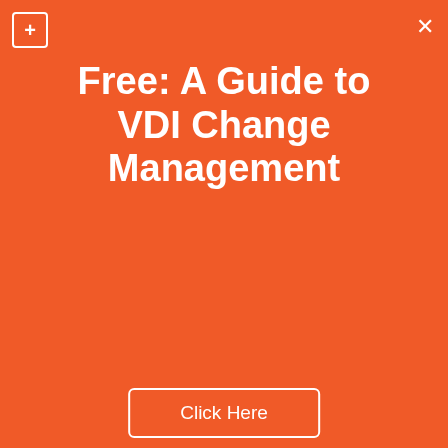[Figure (other): Orange popup overlay with title 'Free: A Guide to VDI Change Management' and a 'Click Here' button, with plus and close icons]
CTERA Announces New Managed File Access Solutions for the Post-Pandemic Workplace
CTERA introduced a new remote work suite for its global file system featuring a small form factor edge filer and a new lightweight file access agent.... Read More...
Posted Thursday, March 11, 2021 10:05 AM by David Marshall | 0 Comments
Filed under: General News
OpenText Releases Cloud Edition 21.1 -
[Figure (other): Small calendar widget showing a month view with Su Mo columns visible, dates 28,1 / 7,8 / 14,15 / 21,22 / 28,29 / 4,5]